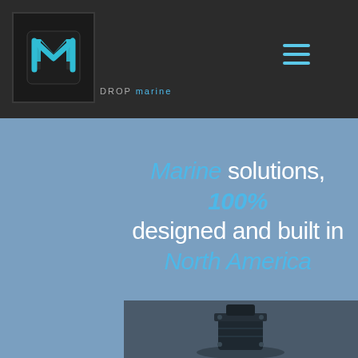[Figure (logo): DROP marine logo: dark square with stylized cyan 'm' inside a 'D' shape, with 'DROP marine' text below]
Marine solutions, 100% designed and built in North America